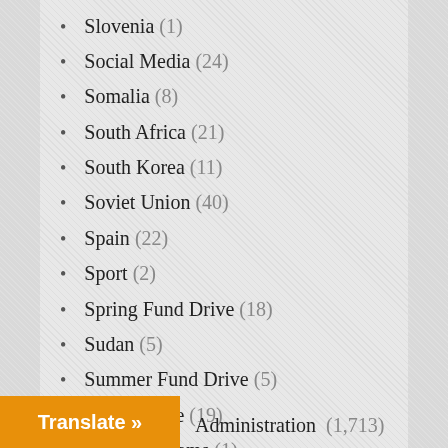Slovenia (1)
Social Media (24)
Somalia (8)
South Africa (21)
South Korea (11)
Soviet Union (40)
Spain (22)
Sport (2)
Spring Fund Drive (18)
Sudan (5)
Summer Fund Drive (5)
Surveillance (19)
Susan Williams (1)
Sweden (30)
Syria (118)
Taiwan (16)
Terrorism (17)
Thailand (3)
Administration (1,713)